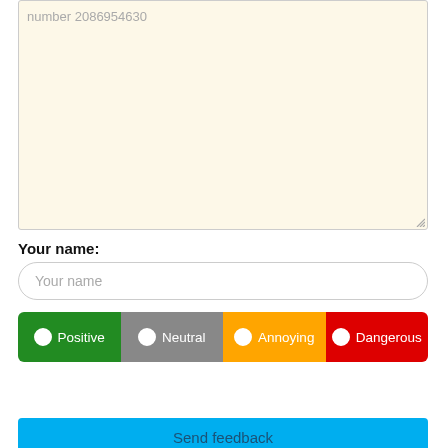number 2086954630
Your name:
Your name (placeholder)
Positive | Neutral | Annoying | Dangerous
Send feedback